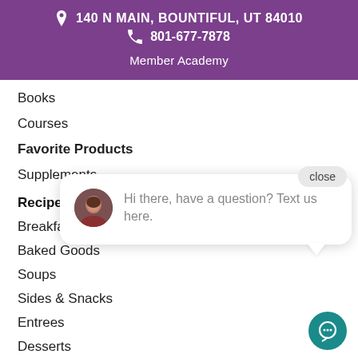140 N MAIN, BOUNTIFUL, UT 84010
801-677-7878
Member Academy
Books
Courses
Favorite Products
Supplements
Recipes
Breakfast
Baked Goods
Soups
Sides & Snacks
Entrees
Desserts
[Figure (screenshot): Chat widget showing a close button and a message bubble with avatar: 'Hi there, have a question? Text us here.' and a teal chat icon button.]